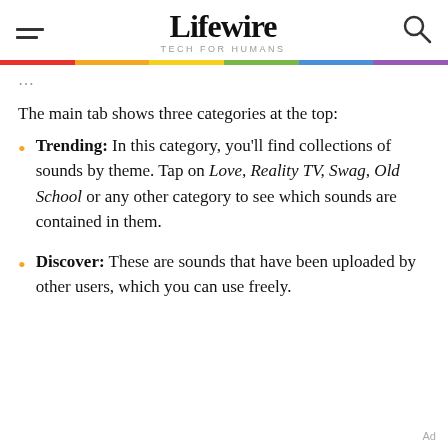Lifewire — TECH FOR HUMANS
The main tab shows three categories at the top:
Trending: In this category, you'll find collections of sounds by theme. Tap on Love, Reality TV, Swag, Old School or any other category to see which sounds are contained in them.
Discover: These are sounds that have been uploaded by other users, which you can use freely.